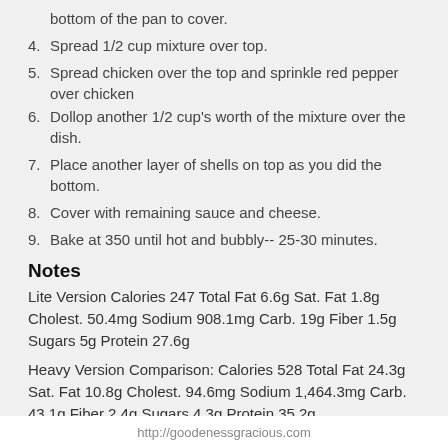bottom of the pan to cover.
4. Spread 1/2 cup mixture over top.
5. Spread chicken over the top and sprinkle red pepper over chicken
6. Dollop another 1/2 cup's worth of the mixture over the dish.
7. Place another layer of shells on top as you did the bottom.
8. Cover with remaining sauce and cheese.
9. Bake at 350 until hot and bubbly-- 25-30 minutes.
Notes
Lite Version Calories 247 Total Fat 6.6g Sat. Fat 1.8g Cholest. 50.4mg Sodium 908.1mg Carb. 19g Fiber 1.5g Sugars 5g Protein 27.6g
Heavy Version Comparison: Calories 528 Total Fat 24.3g Sat. Fat 10.8g Cholest. 94.6mg Sodium 1,464.3mg Carb. 43.1g Fiber 2.4g Sugars 4.3g Protein 35.2g
http://goodenessgracious.com